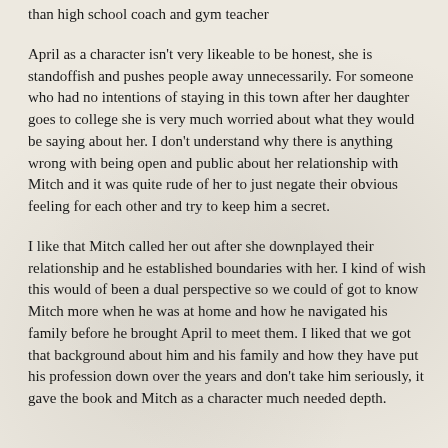than high school coach and gym teacher
April as a character isn't very likeable to be honest, she is standoffish and pushes people away unnecessarily. For someone who had no intentions of staying in this town after her daughter goes to college she is very much worried about what they would be saying about her. I don't understand why there is anything wrong with being open and public about her relationship with Mitch and it was quite rude of her to just negate their obvious feeling for each other and try to keep him a secret.
I like that Mitch called her out after she downplayed their relationship and he established boundaries with her. I kind of wish this would of been a dual perspective so we could of got to know Mitch more when he was at home and how he navigated his family before he brought April to meet them. I liked that we got that background about him and his family and how they have put his profession down over the years and don't take him seriously, it gave the book and Mitch as a character much needed depth.